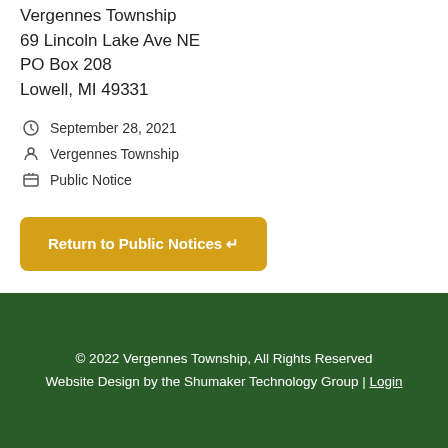Vergennes Township
69 Lincoln Lake Ave NE
PO Box 208
Lowell, MI 49331
September 28, 2021
Vergennes Township
Public Notice
Return to Public Notices ↵
© 2022 Vergennes Township, All Rights Reserved
Website Design by the Shumaker Technology Group | Login